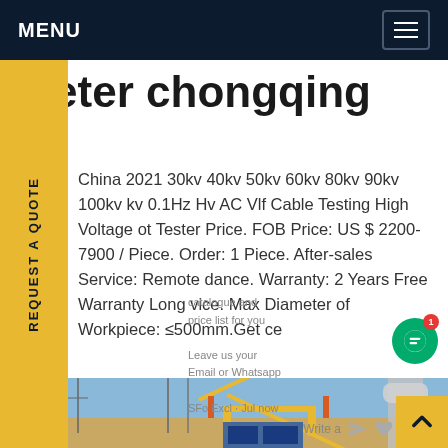MENU
meter chongqing
China 2021 30kv 40kv 50kv 60kv 80kv 90kv 100kv kv 0.1Hz Hv AC Vlf Cable Testing High Voltage ot Tester Price. FOB Price: US $ 2200-7900 / Piece. Order: 1 Piece. After-sales Service: Remote dance. Warranty: 2 Years Free Warranty Long vice. Max Diameter of Workpiece: ≤500mm.Get ce
[Figure (photo): Industrial high voltage cable testing equipment with yellow crane/frame structure outdoors at an electrical substation under blue sky]